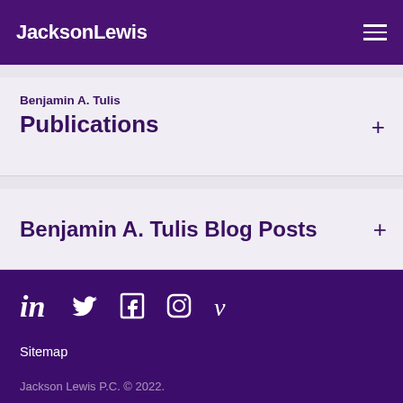JacksonLewis
Benjamin A. Tulis Publications
Benjamin A. Tulis Blog Posts
Sitemap
Contact
Privacy, Disclaimer & Copyright
Jackson Lewis P.C. © 2022.